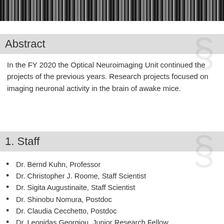[Figure (photo): Black and white photo strip at the top of the page showing people in a laboratory or office setting]
Abstract
In the FY 2020 the Optical Neuroimaging Unit continued the projects of the previous years. Research projects focused on imaging neuronal activity in the brain of awake mice.
1. Staff
Dr. Bernd Kuhn, Professor
Dr. Christopher J. Roome, Staff Scientist
Dr. Sigita Augustinaite, Staff Scientist
Dr. Shinobu Nomura, Postdoc
Dr. Claudia Cecchetto, Postdoc
Dr. Leonidas Georgiou, Junior Research Fellow
Soumen Jana, Ph.D. student
Lina Koronfel, Ph.D. student
Mohamed Mostafa Eltabbal, PhD student